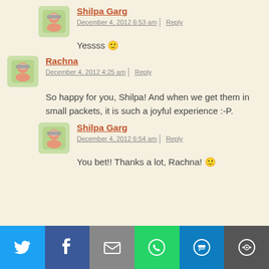Shilpa Garg — December 4, 2012 6:53 am | Reply
Yessss 🙂
Rachna — December 4, 2012 4:25 am | Reply
So happy for you, Shilpa! And when we get them in small packets, it is such a joyful experience :-P.
Shilpa Garg — December 4, 2012 6:54 am | Reply
You bet!! Thanks a lot, Rachna! 🙂
[Figure (other): Social share bar with Twitter, Facebook, Email, WhatsApp, SMS, and More buttons]